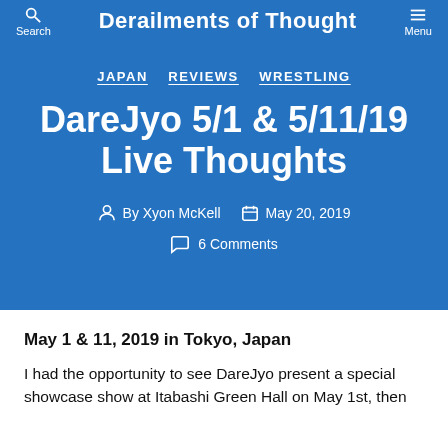Derailments of Thought
JAPAN   REVIEWS   WRESTLING
DareJyo 5/1 & 5/11/19 Live Thoughts
By Xyon McKell   May 20, 2019
6 Comments
May 1 & 11, 2019 in Tokyo, Japan
I had the opportunity to see DareJyo present a special showcase show at Itabashi Green Hall on May 1st, then